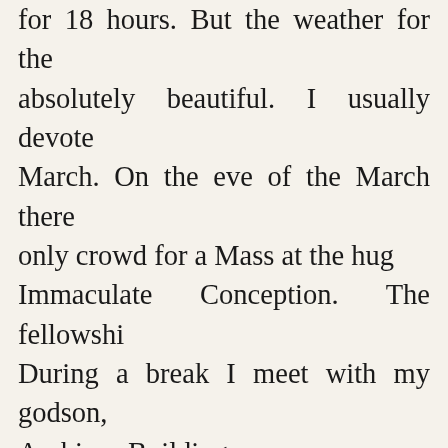for 18 hours. But the weather for the absolutely beautiful. I usually devote March. On the eve of the March there only crowd for a Mass at the hug Immaculate Conception. The fellowshi During a break I meet with my godson, Archives Building.
I tagged along with Dr. Sam Wilson to Virginia (a couple of hours out of Wa It included Monticello (home of Th https://www.monticello.org), Montpelie Madison - http://www.montpelier.org Wilson Library (his book